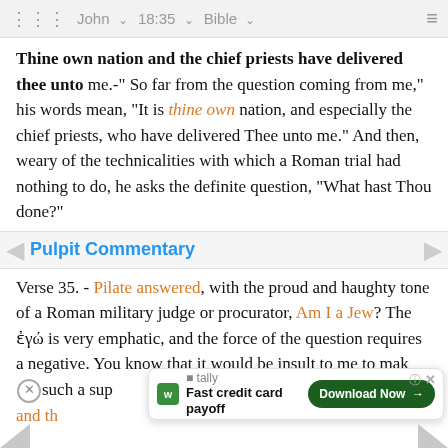John  18:35  Bible
Thine own nation and the chief priests have delivered thee unto me.- So far from the question coming from me," his words mean, "It is thine own nation, and especially the chief priests, who have delivered Thee unto me." And then, weary of the technicalities with which a Roman trial had nothing to do, he asks the definite question, "What hast Thou done?"
Pulpit Commentary
Verse 35. - Pilate answered, with the proud and haughty tone of a Roman military judge or procurator, Am I a Jew? The ἐγώ is very emphatic, and the force of the question requires a negative. You know that it would be insult to me to make such a supposition, and the...